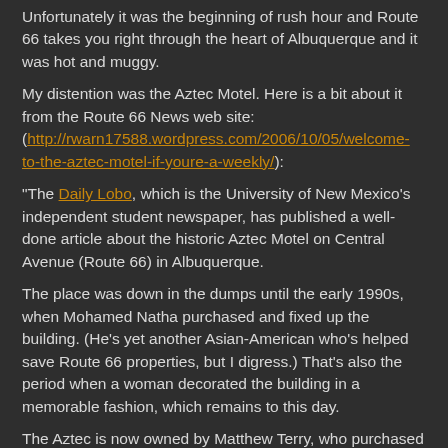Unfortunately it was the beginning of rush hour and Route 66 takes you right through the heart of Albuquerque and it was hot and muggy.
My distention was the Aztec Motel. Here is a bit about it from the Route 66 News web site: (http://rwarn17588.wordpress.com/2006/10/05/welcome-to-the-aztec-motel-if-youre-a-weekly/):
“The Daily Lobo, which is the University of New Mexico’s independent student newspaper, has published a well-done article about the historic Aztec Motel on Central Avenue (Route 66) in Albuquerque.
The place was down in the dumps until the early 1990s, when Mohamed Natha purchased and fixed up the building. (He’s yet another Asian-American who’s helped save Route 66 properties, but I digress.) That’s also the period when a woman decorated the building in a memorable fashion, which remains to this day.
The Aztec is now owned by Matthew Terry, who purchased it last year. He wouldn’t tell the Daily Lobo his future plans for